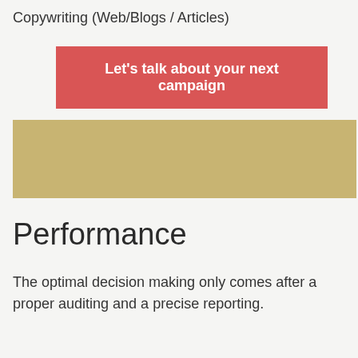Copywriting (Web/Blogs / Articles)
Let's talk about your next campaign
[Figure (other): A tan/gold colored rectangular image placeholder block]
Performance
The optimal decision making only comes after a proper auditing and a precise reporting.